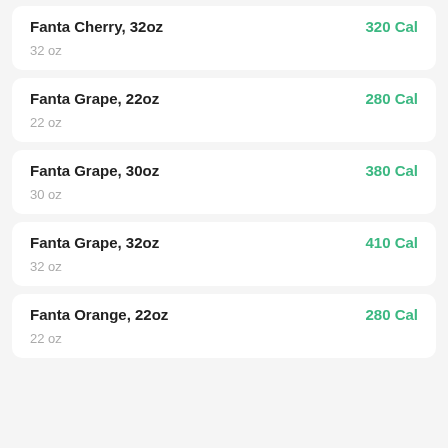Fanta Cherry, 32oz | 320 Cal | 32 oz
Fanta Grape, 22oz | 280 Cal | 22 oz
Fanta Grape, 30oz | 380 Cal | 30 oz
Fanta Grape, 32oz | 410 Cal | 32 oz
Fanta Orange, 22oz | 280 Cal | 22 oz